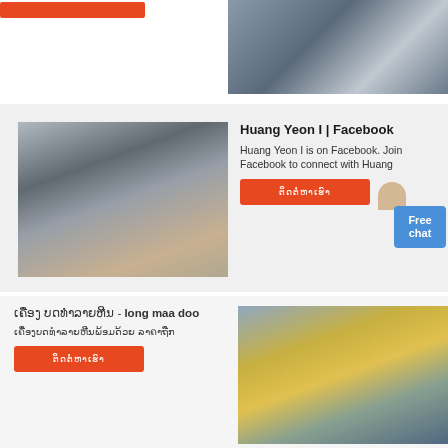[Figure (photo): Orange button at top left and industrial machinery photo at top right]
[Figure (photo): Industrial jaw crusher / mining machinery equipment on factory floor]
Huang Yeon I | Facebook
Huang Yeon I is on Facebook. Join Facebook to connect with Huang
ຕິດຕໍ່ (button text in Lao script)
[Figure (photo): Free chat button with avatar icon]
ເຄື່ອງ ບດທໍາລາຍຫີນ - long maa doo
ເຄື່ອງບດທໍາລາຍຫີນພ້ອມດ້ວຍ ລາຄາຖືກ
ຕິດຕໍ່ (button text in Lao script)
[Figure (photo): Outdoor mining/crushing plant with workers in hard hats and yellow machinery with conveyor belts]